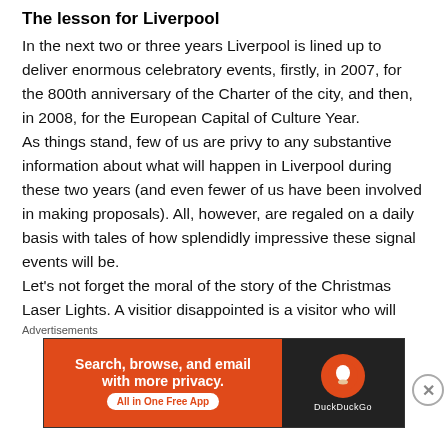The lesson for Liverpool
In the next two or three years Liverpool is lined up to deliver enormous celebratory events, firstly, in 2007, for the 800th anniversary of the Charter of the city, and then, in 2008, for the European Capital of Culture Year.
As things stand, few of us are privy to any substantive information about what will happen in Liverpool during these two years (and even fewer of us have been involved in making proposals). All, however, are regaled on a daily basis with tales of how splendidly impressive these signal events will be.
Let’s not forget the moral of the story of the Christmas Laser Lights. A visitior disappointed is a visitor who will
Advertisements
[Figure (screenshot): DuckDuckGo advertisement banner: orange left panel with 'Search, browse, and email with more privacy. All in One Free App' and dark right panel with DuckDuckGo logo and name.]